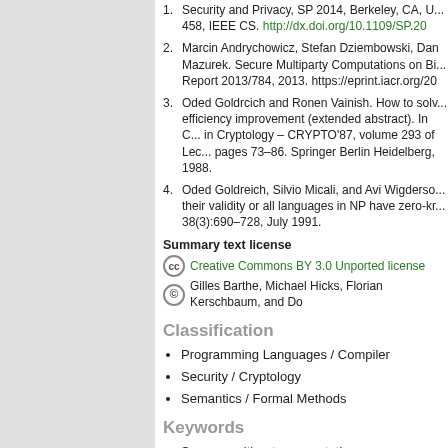1. Security and Privacy, SP 2014, Berkeley, CA, U... 458, IEEE CS. http://dx.doi.org/10.1109/SP.20...
2. Marcin Andrychowicz, Stefan Dziembowski, Dan Mazurek. Secure Multiparty Computations on Bi... Report 2013/784, 2013. https://eprint.iacr.org/20...
3. Oded Goldrcich and Ronen Vainish. How to solv... efficiency improvement (extended abstract). In C... in Cryptology – CRYPTO'87, volume 293 of Lec... pages 73–86. Springer Berlin Heidelberg, 1988.
4. Oded Goldreich, Silvio Micali, and Avi Wigderso... their validity or all languages in NP have zero-kr... 38(3):690–728, July 1991.
Summary text license
Creative Commons BY 3.0 Unported license
Gilles Barthe, Michael Hicks, Florian Kerschbaum, and Do...
Classification
Programming Languages / Compiler
Security / Cryptology
Semantics / Formal Methods
Keywords
Secure multiparty computation